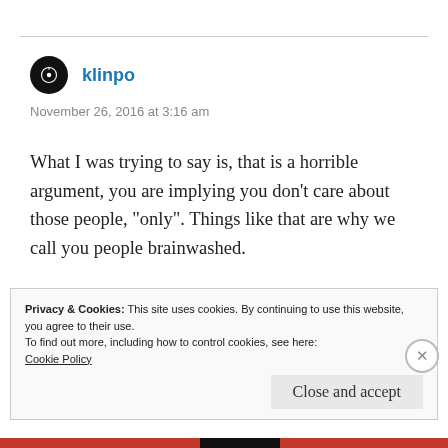klinpo
November 26, 2016 at 3:16 am
What I was trying to say is, that is a horrible argument, you are implying you don’t care about those people, “only”. Things like that are why we call you people brainwashed.
Privacy & Cookies: This site uses cookies. By continuing to use this website, you agree to their use.
To find out more, including how to control cookies, see here:
Cookie Policy
Close and accept